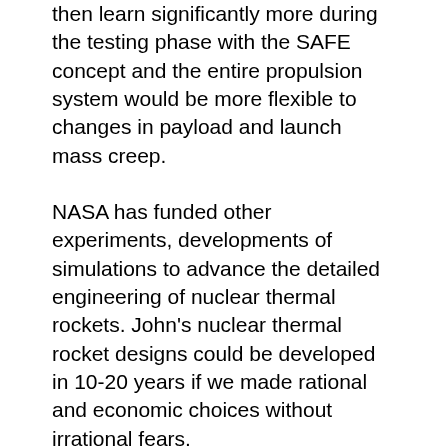then learn significantly more during the testing phase with the SAFE concept and the entire propulsion system would be more flexible to changes in payload and launch mass creep.
NASA has funded other experiments, developments of simulations to advance the detailed engineering of nuclear thermal rockets. John's nuclear thermal rocket designs could be developed in 10-20 years if we made rational and economic choices without irrational fears.
John's design is an air breathing nuclear thermal rocket propulsion cycle called the Nuclear Thermal Turbo Rocket improves payload fraction to Low Earth Orbit by a